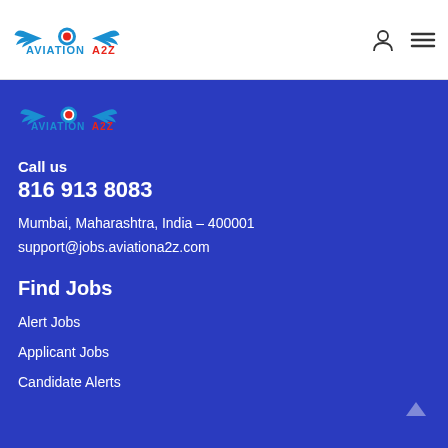[Figure (logo): Aviation A2Z logo with wings and text in blue and red]
[Figure (logo): Aviation A2Z footer logo with wings and text in blue and red on dark blue background]
Call us
816 913 8083
Mumbai, Maharashtra, India – 400001
support@jobs.aviationa2z.com
Find Jobs
Alert Jobs
Applicant Jobs
Candidate Alerts